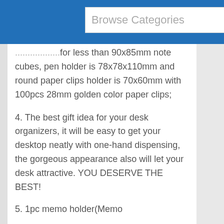Browse Categories
...for less than 90x85mm note cubes, pen holder is 78x78x110mm and round paper clips holder is 70x60mm with 100pcs 28mm golden color paper clips;
4. The best gift idea for your desk organizers, it will be easy to get your desktop neatly with one-hand dispensing, the gorgeous appearance also will let your desk attractive. YOU DESERVE THE BEST!
5. 1pc memo holder(Memo